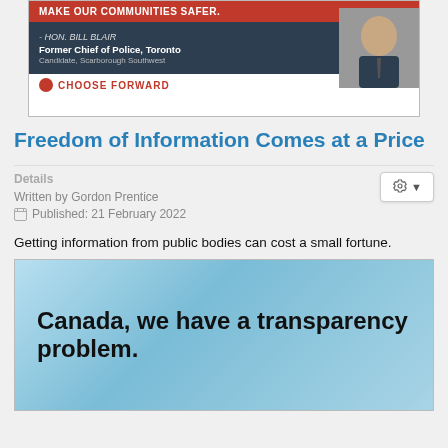[Figure (photo): Political campaign advertisement featuring Hon. Bill Blair, Former Chief of Police, Toronto, Candidate Scarborough Southwest, with 'Choose Forward' branding and red/dark design.]
Freedom of Information Comes at a Price
Details
Written by Gordon Prentice
Published: 21 February 2022
Getting information from public bodies can cost a small fortune.
[Figure (photo): Image with text reading 'Canada, we have a transparency problem.' on a light blue background.]